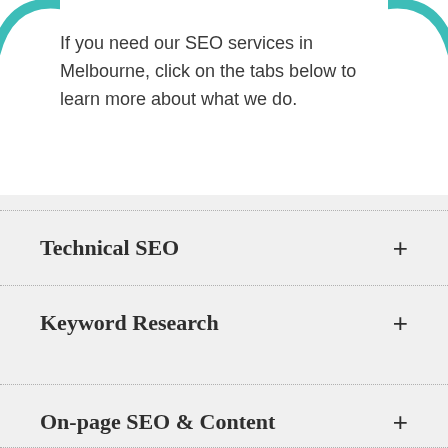If you need our SEO services in Melbourne, click on the tabs below to learn more about what we do.
Technical SEO
Keyword Research
On-page SEO & Content